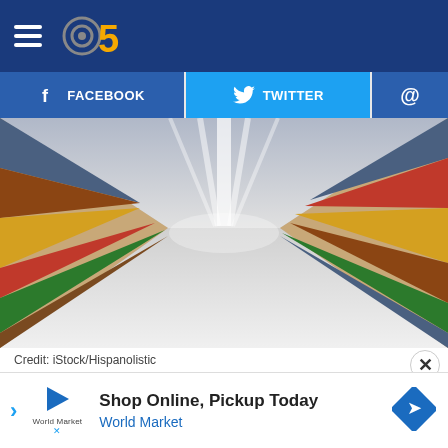CBS 58
[Figure (other): Social media sharing buttons: Facebook, Twitter, and email (@)]
[Figure (photo): A supermarket store aisle with shelves stocked with food products on both sides, perspective view showing the aisle receding into the distance.]
Credit: iStock/Hispanolistic
[Figure (other): Advertisement banner: Shop Online, Pickup Today - World Market, with a navigation arrow diamond icon.]